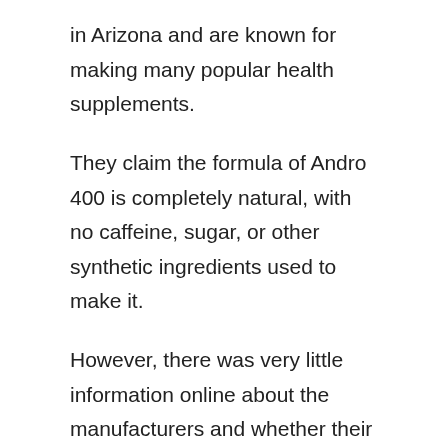in Arizona and are known for making many popular health supplements.
They claim the formula of Andro 400 is completely natural, with no caffeine, sugar, or other synthetic ingredients used to make it.
However, there was very little information online about the manufacturers and whether their facilities are FDA or GMP approved.
Ageless Male